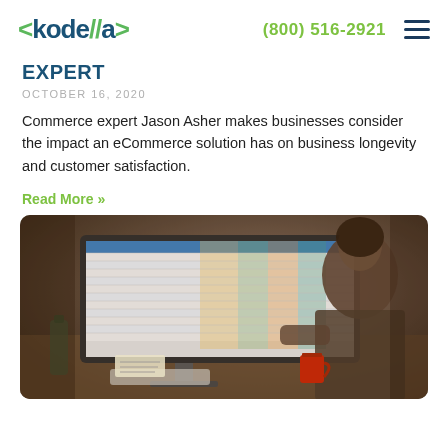kodella  (800) 516-2921
Expert
OCTOBER 16, 2020
Commerce expert Jason Asher makes businesses consider the impact an eCommerce solution has on business longevity and customer satisfaction.
Read More »
[Figure (photo): A person sitting at a desk viewing a large monitor displaying a colorful spreadsheet, with a coffee cup and desk items visible in the foreground.]